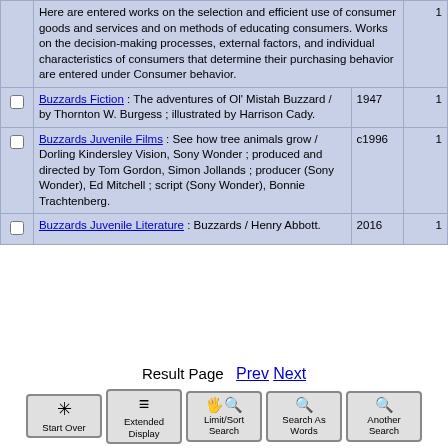|  | Description | Year | Count |
| --- | --- | --- | --- |
|  | Here are entered works on the selection and efficient use of consumer goods and services and on methods of educating consumers. Works on the decision-making processes, external factors, and individual characteristics of consumers that determine their purchasing behavior are entered under Consumer behavior. |  | 1 |
| ☐ | Buzzards Fiction : The adventures of Ol' Mistah Buzzard / by Thornton W. Burgess ; illustrated by Harrison Cady. | 1947 | 1 |
| ☐ | Buzzards Juvenile Films : See how tree animals grow / Dorling Kindersley Vision, Sony Wonder ; produced and directed by Tom Gordon, Simon Jollands ; producer (Sony Wonder), Ed Mitchell ; script (Sony Wonder), Bonnie Trachtenberg. | c1996 | 1 |
| ☐ | Buzzards Juvenile Literature : Buzzards / Henry Abbott. | 2016 | 1 |
Result Page  Prev  Next
Start Over
Extended Display
Limit/Sort Search
Search As Words
Another Search